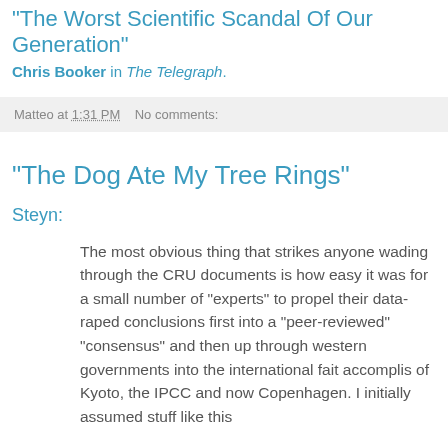"The Worst Scientific Scandal Of Our Generation"
Chris Booker in The Telegraph.
Matteo at 1:31 PM   No comments:
"The Dog Ate My Tree Rings"
Steyn:
The most obvious thing that strikes anyone wading through the CRU documents is how easy it was for a small number of "experts" to propel their data-raped conclusions first into a "peer-reviewed" "consensus" and then up through western governments into the international fait accomplis of Kyoto, the IPCC and now Copenhagen. I initially assumed stuff like this